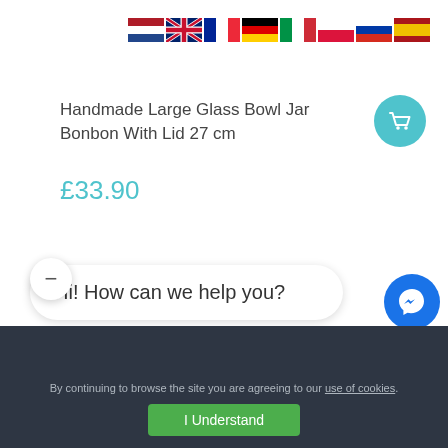[Figure (other): Row of country flag icons: Netherlands, UK, France, Germany, Italy, Poland, Russia, Spain]
Handmade Large Glass Bowl Jar Bonbon With Lid 27 cm
£33.90
[Figure (other): Teal circular shopping cart button]
Hi! How can we help you?
By continuing to browse the site you are agreeing to our use of cookies.
I Understand